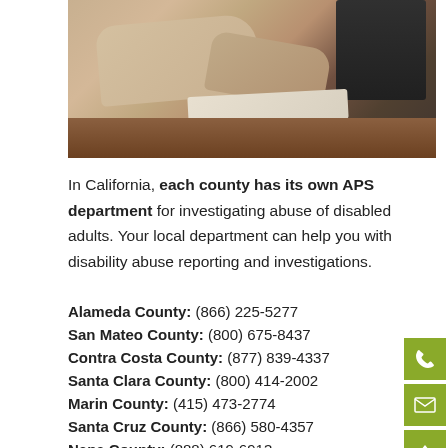[Figure (photo): Photo of a person at a desk with papers and a computer monitor, appears to be in an office setting]
In California, each county has its own APS department for investigating abuse of disabled adults. Your local department can help you with disability abuse reporting and investigations.
Alameda County: (866) 225-5277
San Mateo County: (800) 675-8437
Contra Costa County: (877) 839-4337
Santa Clara County: (800) 414-2002
Marin County: (415) 473-2774
Santa Cruz County: (866) 580-4357
Napa County: (888) 619-6913